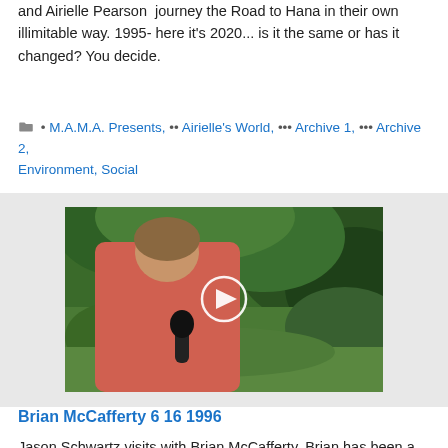and Airielle Pearson journey the Road to Hana in their own illimitable way. 1995- here it's 2020... is it the same or has it changed? You decide.
• M.A.M.A. Presents, •• Airielle's World, ••• Archive 1, ••• Archive 2, Environment, Social
[Figure (photo): Video thumbnail showing a person in a pink sleeveless shirt holding a microphone, standing outdoors with green tropical vegetation in the background. A circular play button overlay is visible in the center.]
Brian McCafferty 6 16 1996
Jason Schwartz visits with Brian McCafferty. Brian has been a teacher and advocate for kids, troubled kids and all. He established a teen club off the beach in Paia. He established a farm and all kinds of